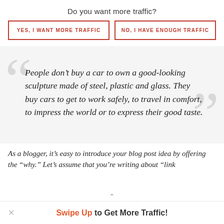Do you want more traffic?
YES, I WANT MORE TRAFFIC
NO, I HAVE ENOUGH TRAFFIC
People don’t buy a car to own a good-looking sculpture made of steel, plastic and glass. They buy cars to get to work safely, to travel in comfort, to impress the world or to express their good taste.
As a blogger, it’s easy to introduce your blog post idea by offering the “why.” Let’s assume that you’re writing about “link
Swipe Up to Get More Traffic!